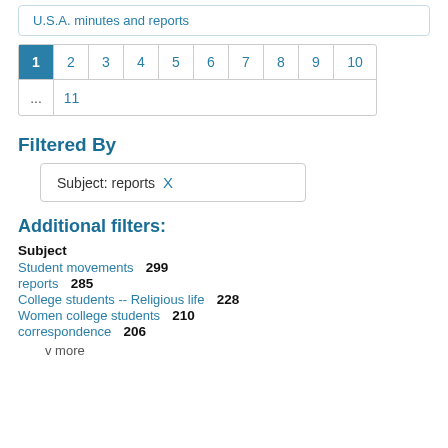U.S.A. minutes and reports
1 2 3 4 5 6 7 8 9 10 ... 11
Filtered By
Subject: reports X
Additional filters:
Subject
Student movements   299
reports   285
College students -- Religious life   228
Women college students   210
correspondence   206
v more